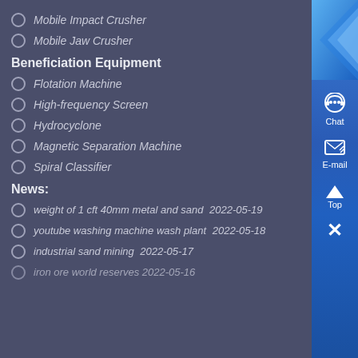Mobile Impact Crusher
Mobile Jaw Crusher
Beneficiation Equipment
Flotation Machine
High-frequency Screen
Hydrocyclone
Magnetic Separation Machine
Spiral Classifier
News:
weight of 1 cft 40mm metal and sand  2022-05-19
youtube washing machine wash plant  2022-05-18
industrial sand mining  2022-05-17
iron ore world reserves  2022-05-16